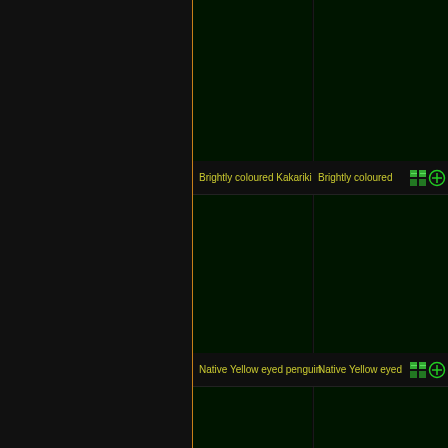[Figure (screenshot): Dark UI screenshot showing a grid/gallery interface with two visible label rows. Left panel is dark with an orange vertical border line. Right area shows a 2-column grid of dark green cells. Two label rows are visible: 'Brightly coloured Kakariki' with grid and plus icons, and 'Native Yellow eyed penguin' with grid and plus icons. Partially visible text on far right reads 'Brightly coloured' and 'Native Yellow eyed'.]